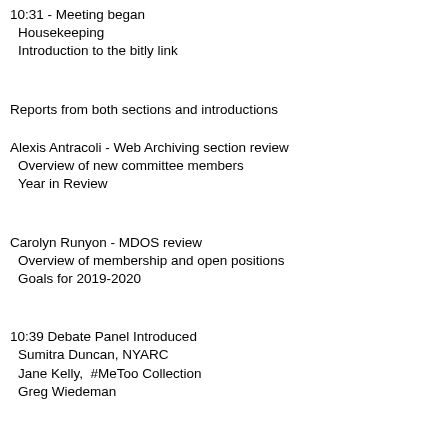10:31 - Meeting began
 Housekeeping
 Introduction to the bitly link
Reports from both sections and introductions
Alexis Antracoli - Web Archiving section review
 Overview of new committee members
 Year in Review
Carolyn Runyon - MDOS review
 Overview of membership and open positions
 Goals for 2019-2020
10:39 Debate Panel Introduced
 Sumitra Duncan, NYARC
 Jane Kelly,  #MeToo Collection
 Greg Wiedeman